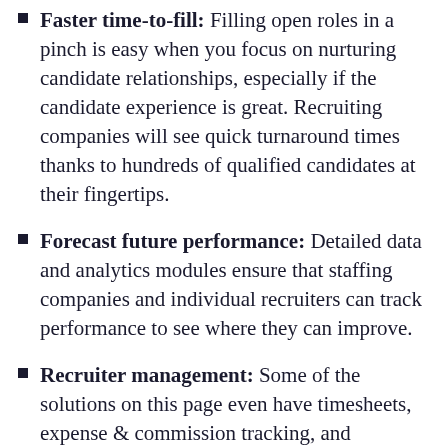Faster time-to-fill: Filling open roles in a pinch is easy when you focus on nurturing candidate relationships, especially if the candidate experience is great. Recruiting companies will see quick turnaround times thanks to hundreds of qualified candidates at their fingertips.
Forecast future performance: Detailed data and analytics modules ensure that staffing companies and individual recruiters can track performance to see where they can improve.
Recruiter management: Some of the solutions on this page even have timesheets, expense & commission tracking, and invoicing modules so you don't need to buy another software just to manage your team.